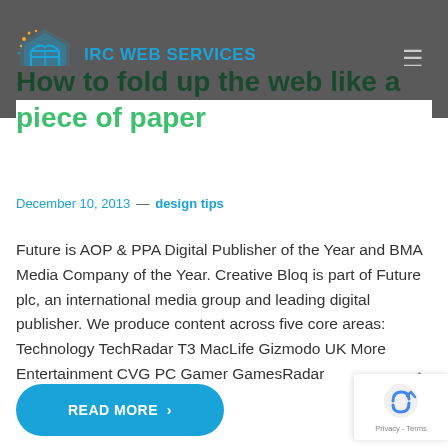IRC WEB SERVICES — DIGITAL WEB AGENCY
How to fold up the web like a piece of paper
December 10, 2013  —  design tips
Future is AOP & PPA Digital Publisher of the Year and BMA Media Company of the Year. Creative Bloq is part of Future plc, an international media group and leading digital publisher. We produce content across five core areas: Technology TechRadar T3 MacLife Gizmodo UK More Entertainment CVG PC Gamer GamesRadar
READ MORE >